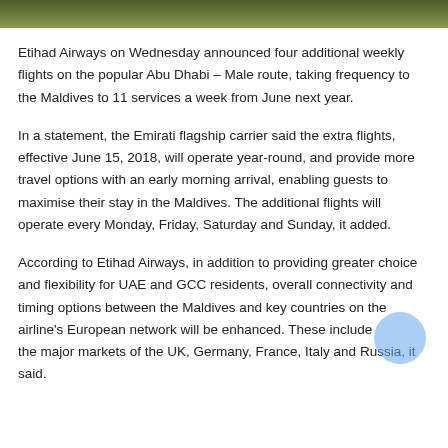[Figure (photo): Top strip showing a green landscape or foliage image, cropped to a narrow horizontal band.]
Etihad Airways on Wednesday announced four additional weekly flights on the popular Abu Dhabi – Male route, taking frequency to the Maldives to 11 services a week from June next year.
In a statement, the Emirati flagship carrier said the extra flights, effective June 15, 2018, will operate year-round, and provide more travel options with an early morning arrival, enabling guests to maximise their stay in the Maldives. The additional flights will operate every Monday, Friday, Saturday and Sunday, it added.
According to Etihad Airways, in addition to providing greater choice and flexibility for UAE and GCC residents, overall connectivity and timing options between the Maldives and key countries on the airline's European network will be enhanced. These include the major markets of the UK, Germany, France, Italy and Russia, it said.